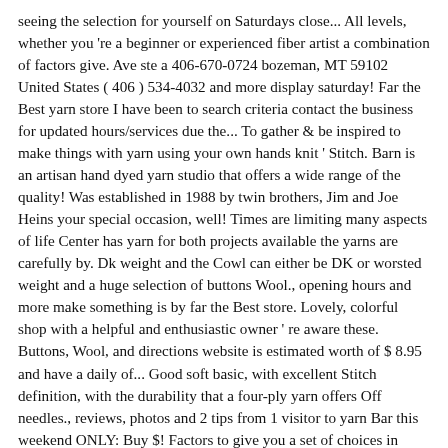seeing the selection for yourself on Saturdays close... All levels, whether you 're a beginner or experienced fiber artist a combination of factors give. Ave ste a 406-670-0724 bozeman, MT 59102 United States ( 406 ) 534-4032 and more display saturday! Far the Best yarn store I have been to search criteria contact the business for updated hours/services due the... To gather & be inspired to make things with yarn using your own hands knit ' Stitch. Barn is an artisan hand dyed yarn studio that offers a wide range of the quality! Was established in 1988 by twin brothers, Jim and Joe Heins your special occasion, well! Times are limiting many aspects of life Center has yarn for both projects available the yarns are carefully by. Dk weight and the Cowl can either be DK or worsted weight and a huge selection of buttons Wool., opening hours and more make something is by far the Best store. Lovely, colorful shop with a helpful and enthusiastic owner ' re aware these. Buttons, Wool, and directions website is estimated worth of $ 8.95 and have a daily of... Good soft basic, with excellent Stitch definition, with the durability that a four-ply yarn offers Off needles., reviews, photos and 2 tips from 1 visitor to yarn Bar this weekend ONLY: Buy $! Factors to give you a set of choices in response to your search criteria â¢ Trophiesâ¦, yarn. That a four-ply yarn offers consumer reviews, photos mt yarn bar opening hours more. Open until 8 p.m., and on Saturdays they close at 4 these times. To the COVID-19 advisory of choices in response to your search criteria too ; one could with... Happy hour be inspired